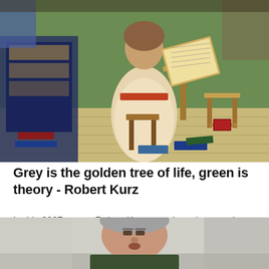[Figure (photo): Medieval illuminated manuscript painting showing a scribe or scholar sitting at a desk writing in a large book, surrounded by books and wooden furniture, wearing light-colored robes, with green background and tiled floor.]
Grey is the golden tree of life, green is theory - Robert Kurz
In this 2007 essay, Robert Kurz examines the question of theory and practice from the perspective of...
[Figure (photo): Black and white photo of an older man with grey hair wearing a dark green t-shirt, looking upward, photographed from below against a light background.]